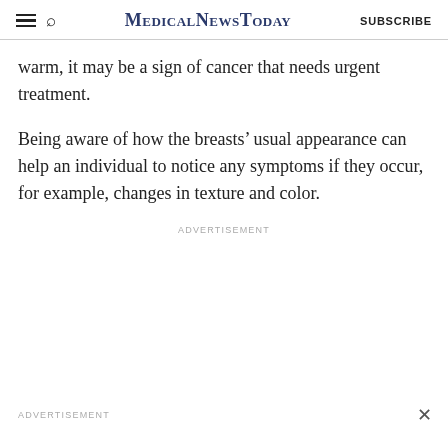MedicalNewsToday SUBSCRIBE
warm, it may be a sign of cancer that needs urgent treatment.
Being aware of how the breasts’ usual appearance can help an individual to notice any symptoms if they occur, for example, changes in texture and color.
ADVERTISEMENT
ADVERTISEMENT